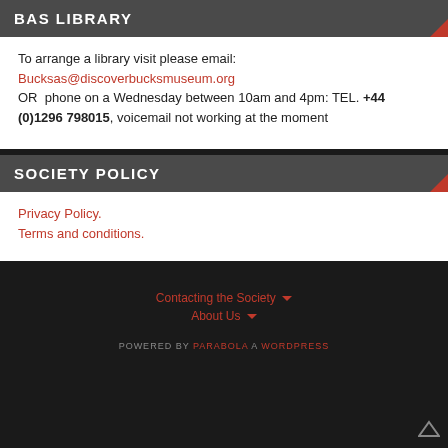BAS LIBRARY
To arrange a library visit please email:
Bucksas@discoverbucksmuseum.org
OR phone on a Wednesday between 10am and 4pm: TEL. +44 (0)1296 798015, voicemail not working at the moment
SOCIETY POLICY
Privacy Policy.
Terms and conditions.
Contacting the Society
About Us
POWERED BY PARABOLA A WORDPRESS